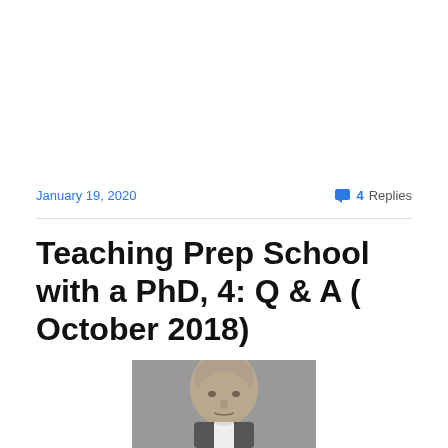January 19, 2020
4 Replies
Teaching Prep School with a PhD, 4: Q & A ( October 2018)
[Figure (photo): Black and white portrait photograph of an elderly bald man in formal 19th-century attire, likely a historical figure.]